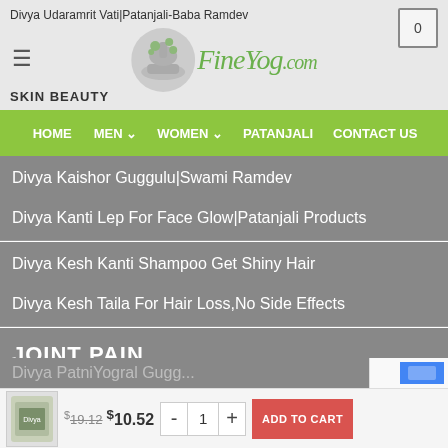Divya Udaramrit Vati|Patanjali-Baba Ramdev
[Figure (logo): FineYog.Com logo with mortar and pestle herb illustration]
SKIN BEAUTY
HOME  MEN  WOMEN  PATANJALI  CONTACT US
Divya Kaishor Guggulu|Swami Ramdev
Divya Kanti Lep For Face Glow|Patanjali Products
Divya Kesh Kanti Shampoo Get Shiny Hair
Divya Kesh Taila For Hair Loss,No Side Effects
JOINT PAIN
Divya Pidantak(Peedantak) Vati|Swami Ramdev
$19.12  $10.52  -  1  +  ADD TO CART